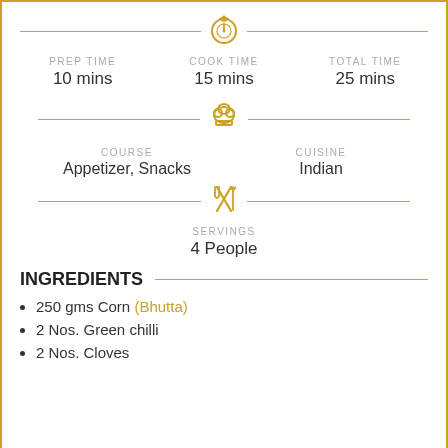PREP TIME: 10 mins | COOK TIME: 15 mins | TOTAL TIME: 25 mins
COURSE: Appetizer, Snacks | CUISINE: Indian
SERVINGS: 4 People
INGREDIENTS
250 gms Corn (Bhutta)
2 Nos. Green chilli
2 Nos. Cloves